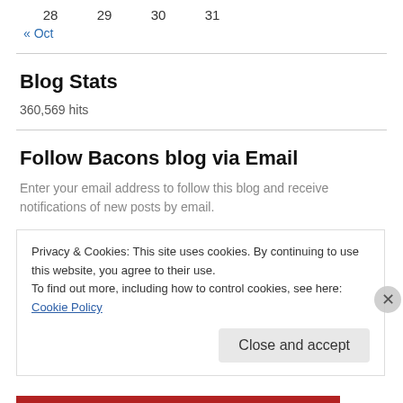28   29   30   31
« Oct
Blog Stats
360,569 hits
Follow Bacons blog via Email
Enter your email address to follow this blog and receive notifications of new posts by email.
Privacy & Cookies: This site uses cookies. By continuing to use this website, you agree to their use.
To find out more, including how to control cookies, see here: Cookie Policy
Close and accept